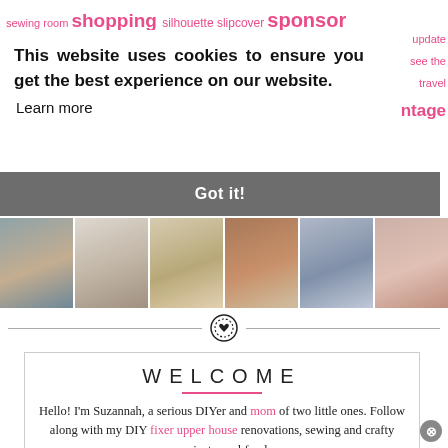sewing room shopping silhouette slipcover sponsor spray paint update see the travel ntage
This website uses cookies to ensure you get the best experience on our website. Learn more
Got it!
[Figure (photo): A horizontal strip of six interior room photos showing living rooms, bedroom, and closet]
[Figure (illustration): Circular icon with heart, used as a divider]
WELCOME
Hello! I'm Suzannah, a serious DIYer and mom of two little ones. Follow along with my DIY fixer upper house renovations, sewing and crafty projects, real food